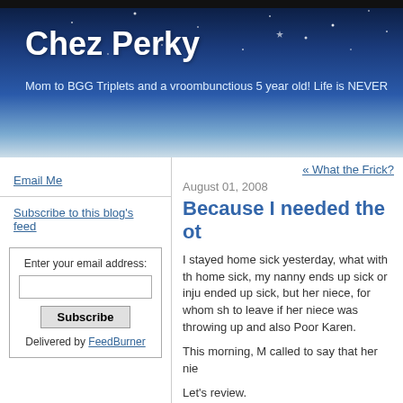Chez Perky
Mom to BGG Triplets and a vroombunctious 5 year old! Life is NEVER
Email Me
Subscribe to this blog's feed
Enter your email address: Subscribe Delivered by FeedBurner
« What the Frick?
August 01, 2008
Because I needed the ot
I stayed home sick yesterday, what with th home sick, my nanny ends up sick or inju ended up sick, but her niece, for whom sh to leave if her niece was throwing up and also Poor Karen.
This morning, M called to say that her nie
Let's review.
Point the first: Karen's babies are 10.5 m vaccine at 12 months old (and another bo